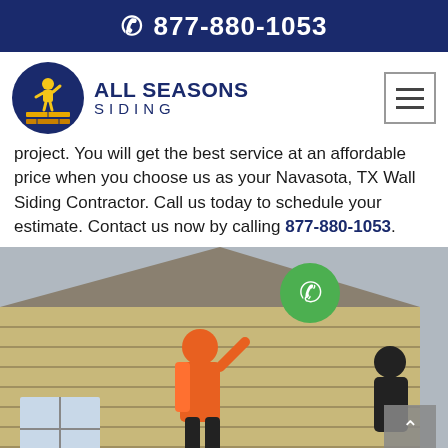📞 877-880-1053
[Figure (logo): All Seasons Siding company logo with circular dark blue badge showing a construction worker icon, and company name text 'ALL SEASONS SIDING']
project. You will get the best service at an affordable price when you choose us as your Navasota, TX Wall Siding Contractor. Call us today to schedule your estimate. Contact us now by calling 877-880-1053.
[Figure (photo): Two workers in orange and black jackets installing or repairing siding on the exterior of a house, working on a ladder, with beige horizontal siding panels visible. A green WhatsApp phone button is overlaid near the top center. A gray scroll-to-top arrow button is at lower right with 'Privacy · Terms' text below it.]